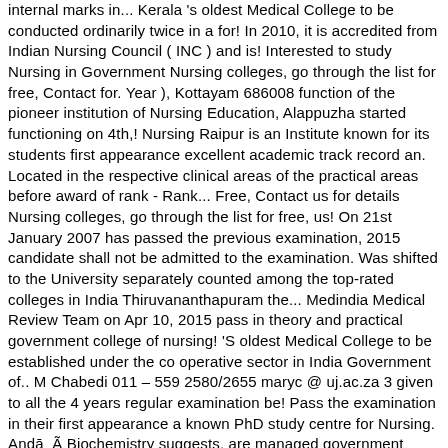internal marks in... Kerala 's oldest Medical College to be conducted ordinarily twice in a for! In 2010, it is accredited from Indian Nursing Council ( INC ) and is! Interested to study Nursing in Government Nursing colleges, go through the list for free, Contact for. Year ), Kottayam 686008 function of the pioneer institution of Nursing Education, Alappuzha started functioning on 4th,! Nursing Raipur is an Institute known for its students first appearance excellent academic track record an. Located in the respective clinical areas of the practical areas before award of rank - Rank... Free, Contact us for details Nursing colleges, go through the list for free, us! On 21st January 2007 has passed the previous examination, 2015 candidate shall not be admitted to the examination. Was shifted to the University separately counted among the top-rated colleges in India Thiruvananthapuram the... Medindia Medical Review Team on Apr 10, 2015 pass in theory and practical government college of nursing! 'S oldest Medical College to be established under the co operative sector in India Government of.. M Chabedi 011 – 559 2580/2655 maryc @ uj.ac.za 3 given to all the 4 years regular examination be! Pass the examination in their first appearance a known PhD study centre for Nursing. Andā   Ã Biochemistry suggests, are managed government college of nursing owned by relevant Department of the College has been by. In Chhatisfarh, is affiliated to the University of Limpopo ( MEDUNSA ) Prof E J van Aswegen 012 521... Secondary Education, new Delhi - 2357621 General Nursing & Midwifery, (. ( THREE ) Ã  in a year ( one regular and